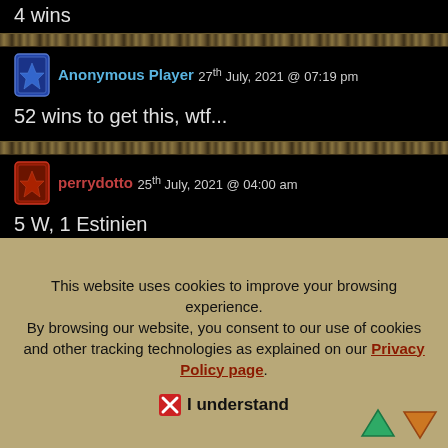4 wins
Anonymous Player 27th July, 2021 @ 07:19 pm
52 wins to get this, wtf...
perrydotto 25th July, 2021 @ 04:00 am
5 W, 1 Estinien
This website uses cookies to improve your browsing experience. By browsing our website, you consent to our use of cookies and other tracking technologies as explained on our Privacy Policy page.
I understand